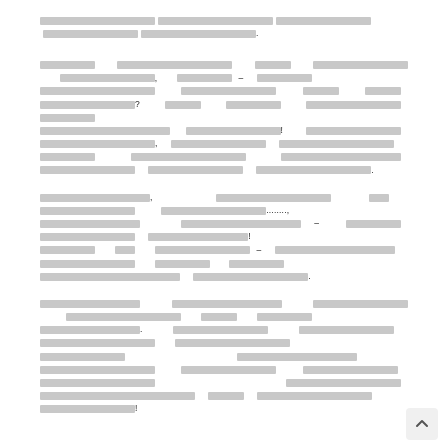[redacted text paragraph 1]
[redacted text paragraph 2]
[redacted text paragraph 3]
[redacted text paragraph 4]